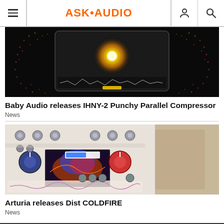ASK·AUDIO
[Figure (screenshot): Baby Audio IHNY-2 Punchy Parallel Compressor plugin interface screenshot on dark background with glowing orb visualization]
Baby Audio releases IHNY-2 Punchy Parallel Compressor
News
[Figure (screenshot): Arturia Dist COLDFIRE distortion plugin interface screenshot showing knobs and colorful waveform display]
Arturia releases Dist COLDFIRE
News